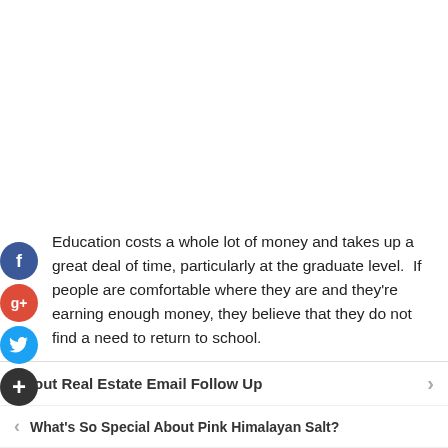Education costs a whole lot of money and takes up a great deal of time, particularly at the graduate level.  If people are comfortable where they are and they're earning enough money, they believe that they do not find a need to return to school.
Through the last 5-10 years online education has radically
About Real Estate Email Follow Up
What's So Special About Pink Himalayan Salt?